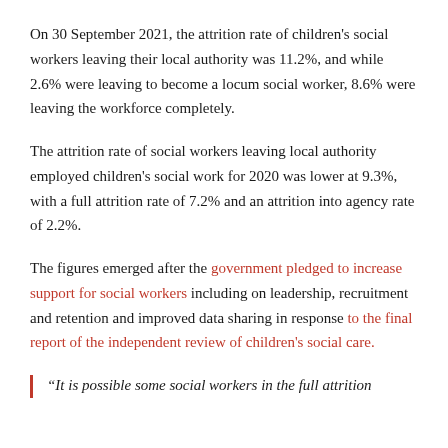On 30 September 2021, the attrition rate of children's social workers leaving their local authority was 11.2%, and while 2.6% were leaving to become a locum social worker, 8.6% were leaving the workforce completely.
The attrition rate of social workers leaving local authority employed children's social work for 2020 was lower at 9.3%, with a full attrition rate of 7.2% and an attrition into agency rate of 2.2%.
The figures emerged after the government pledged to increase support for social workers including on leadership, recruitment and retention and improved data sharing in response to the final report of the independent review of children's social care.
“It is possible some social workers in the full attrition